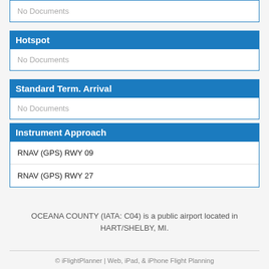No Documents
Hotspot
No Documents
Standard Term. Arrival
No Documents
Instrument Approach
RNAV (GPS) RWY 09
RNAV (GPS) RWY 27
OCEANA COUNTY (IATA: C04) is a public airport located in HART/SHELBY, MI.
© iFlightPlanner | Web, iPad, & iPhone Flight Planning